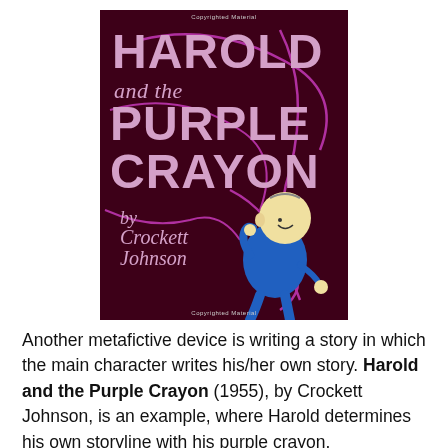[Figure (photo): Book cover of 'Harold and the Purple Crayon' by Crockett Johnson. Dark maroon/burgundy background with purple crayon lines drawn across it. Title text in large pink/mauve letters reads 'HAROLD and the PURPLE CRAYON'. Below the title, italic text reads 'by Crockett Johnson'. A cartoon illustration of Harold, a small child in a blue outfit, is shown drawing with a purple crayon in the lower right corner.]
Another metafictive device is writing a story in which the main character writes his/her own story. Harold and the Purple Crayon (1955), by Crockett Johnson, is an example, where Harold determines his own storyline with his purple crayon.
Aaron Becker's books Journey (2013) and Quest